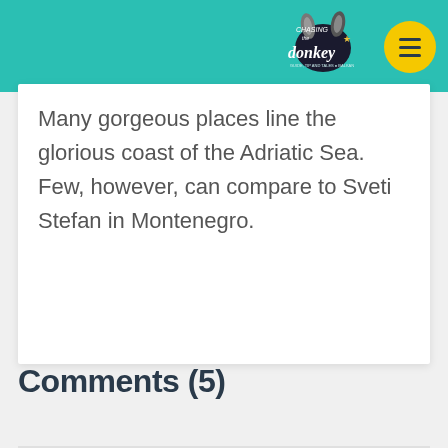Chasing the Donkey
Many gorgeous places line the glorious coast of the Adriatic Sea. Few, however, can compare to Sveti Stefan in Montenegro.
Comments (5)